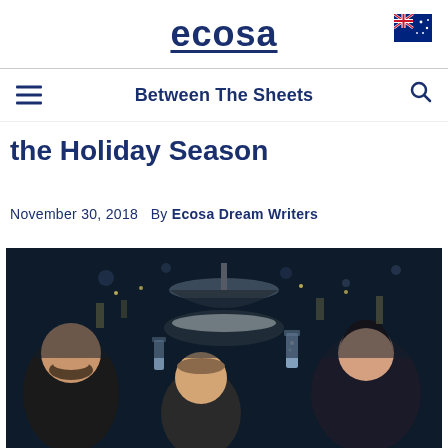ecosa
Between The Sheets
the Holiday Season
November 30, 2018   By Ecosa Dream Writers
[Figure (photo): Group of people celebrating around a table under a pendant lamp, toasting with glasses at a holiday gathering at night]